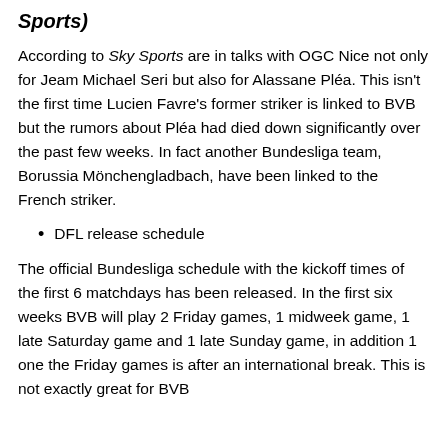Sports)
According to Sky Sports are in talks with OGC Nice not only for Jeam Michael Seri but also for Alassane Pléa. This isn't the first time Lucien Favre's former striker is linked to BVB but the rumors about Pléa had died down significantly over the past few weeks. In fact another Bundesliga team, Borussia Mönchengladbach, have been linked to the French striker.
DFL release schedule
The official Bundesliga schedule with the kickoff times of the first 6 matchdays has been released. In the first six weeks BVB will play 2 Friday games, 1 midweek game, 1 late Saturday game and 1 late Sunday game, in addition 1 one the Friday games is after an international break. This is not exactly great for BVB